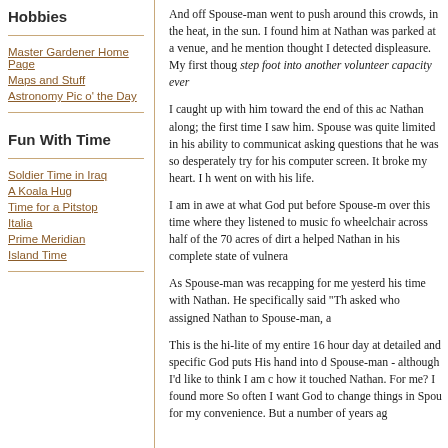Hobbies
Master Gardener Home Page
Maps and Stuff
Astronomy Pic o' the Day
Fun With Time
Soldier Time in Iraq
A Koala Hug
Time for a Pitstop
Italia
Prime Meridian
Island Time
And off Spouse-man went to push around this crowds, in the heat, in the sun. I found him at Nathan was parked at a venue, and he mention thought I detected displeasure. My first thoug step foot into another volunteer capacity ever
I caught up with him toward the end of this ac Nathan along; the first time I saw him. Spouse was quite limited in his ability to communicat asking questions that he was so desperately try for his computer screen. It broke my heart. I h went on with his life.
I am in awe at what God put before Spouse-m over this time where they listened to music fo wheelchair across half of the 70 acres of dirt a helped Nathan in his complete state of vulnera
As Spouse-man was recapping for me yesterd his time with Nathan. He specifically said "Th asked who assigned Nathan to Spouse-man, a
This is the hi-lite of my entire 16 hour day at detailed and specific God puts His hand into d Spouse-man - although I'd like to think I am c how it touched Nathan. For me? I found more So often I want God to change things in Spou for my convenience. But a number of years ag